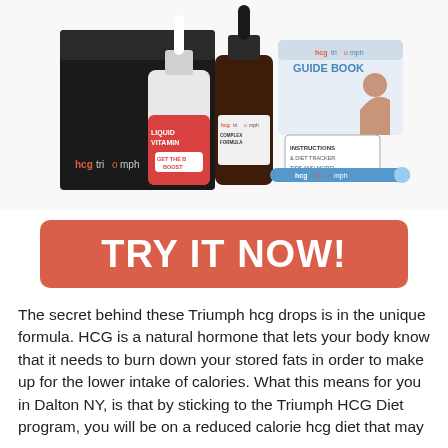[Figure (photo): HCG Triumph product kit showing a black box, two dropper bottles (Liquid Vitamin B Boost and HCG Triumph Complex Formula), a guide book, instruction card, and a blue applicator/pen on a white background.]
TRY IT NOW!
The secret behind these Triumph hcg drops is in the unique formula. HCG is a natural hormone that lets your body know that it needs to burn down your stored fats in order to make up for the lower intake of calories. What this means for you in Dalton NY, is that by sticking to the Triumph HCG Diet program, you will be on a reduced calorie hcg diet that may